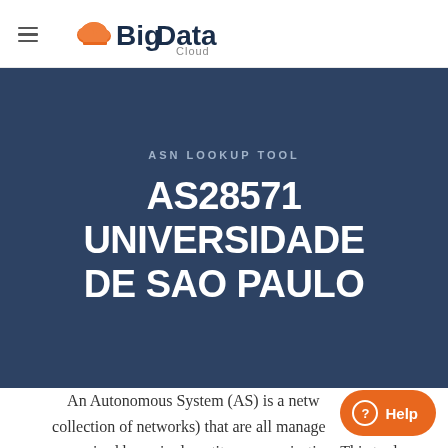BigData Cloud
ASN LOOKUP TOOL
AS28571 UNIVERSIDADE DE SAO PAULO
An Autonomous System (AS) is a network (collection of networks) that are all managed and supervised by a single entity or organisation. This tool